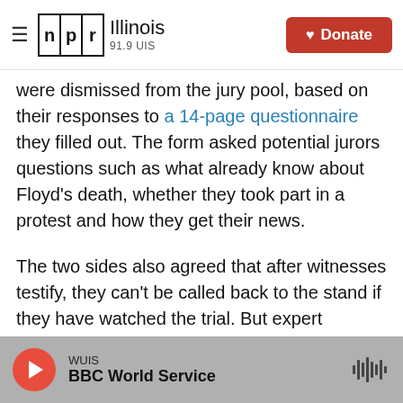NPR Illinois 91.9 UIS | Donate
were dismissed from the jury pool, based on their responses to a 14-page questionnaire they filled out. The form asked potential jurors questions such as what already know about Floyd's death, whether they took part in a protest and how they get their news.
The two sides also agreed that after witnesses testify, they can't be called back to the stand if they have watched the trial. But expert witnesses would be allowed to watch other experts' testimony in case they're called upon to provide a rebuttal.
The witness list in the Chauvin case is long: 362
WUIS | BBC World Service